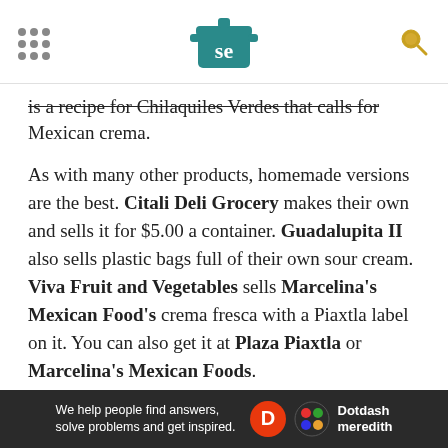[Serious Eats logo with navigation dots and search icon]
is a recipe for Chilaquiles Verdes that calls for Mexican crema.
As with many other products, homemade versions are the best. Citali Deli Grocery makes their own and sells it for $5.00 a container. Guadalupita II also sells plastic bags full of their own sour cream. Viva Fruit and Vegetables sells Marcelina's Mexican Food's crema fresca with a Piaxtla label on it. You can also get it at Plaza Piaxtla or Marcelina's Mexican Foods.
Citali Deli Grocery, 4118 5th Avenue, Brooklyn, NY, 347-987-3681 (map); Guadalupita II, 3901 5th
We help people find answers, solve problems and get inspired. Dotdash meredith